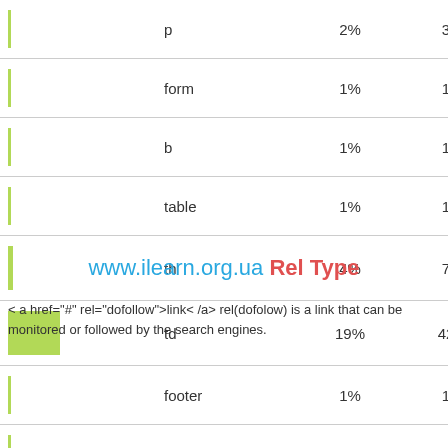| bar | tag | percent | count |
| --- | --- | --- | --- |
|  | p | 2% | 3 |
|  | form | 1% | 1 |
|  | b | 1% | 1 |
|  | table | 1% | 1 |
|  | th | 4% | 7 |
|  | td | 19% | 42 |
|  | footer | 1% | 1 |
|  | script | 2% | 3 |
www.ilearn.org.ua Rel Type
< a href="#" rel="dofollow">link< /a> rel(dofolow) is a link that can be monitored or followed by the search engines.